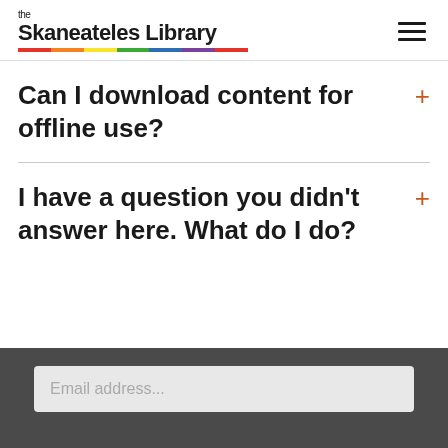the Skaneateles Library
Can I download content for offline use?
I have a question you didn't answer here. What do I do?
Email address...